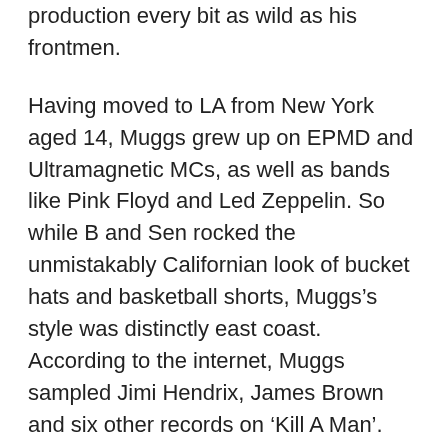production every bit as wild as his frontmen.
Having moved to LA from New York aged 14, Muggs grew up on EPMD and Ultramagnetic MCs, as well as bands like Pink Floyd and Led Zeppelin. So while B and Sen rocked the unmistakably Californian look of bucket hats and basketball shorts, Muggs’s style was distinctly east coast. According to the internet, Muggs sampled Jimi Hendrix, James Brown and six other records on ‘Kill A Man’.
“Nah. I didn’t,” says Muggs. He sighs. “Man... all these dudes that think they know what you’re sampling, they’re just wrong. I’m like, ‘Go fucking do something else man, tryna pick people’s samples apart, you’re a cornball. Don’t worry about what motherfuckers sample, ‘cause